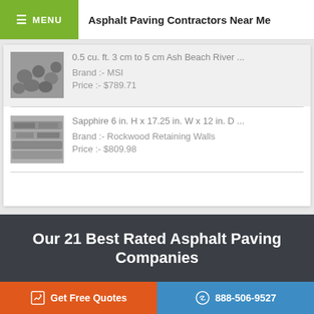MENU  Asphalt Paving Contractors Near Me
0.5 cu. ft. 3 cm to 5 cm Ash Beach River ...
Brand :- MSI
Price :- $789.71
Sapphire 6 in. H x 17.25 in. W x 12 in. D ...
Brand :- Rockwood Retaining Walls
Price :- $809.98
Our 21 Best Rated Asphalt Paving Companies
Get Free Quotes   888-506-9527